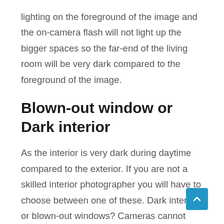lighting on the foreground of the image and the on-camera flash will not light up the bigger spaces so the far-end of the living room will be very dark compared to the foreground of the image.
Blown-out window or Dark interior
As the interior is very dark during daytime compared to the exterior. If you are not a skilled interior photographer you will have to choose between one of these. Dark interior or blown-out windows? Cameras cannot handle such dynamic